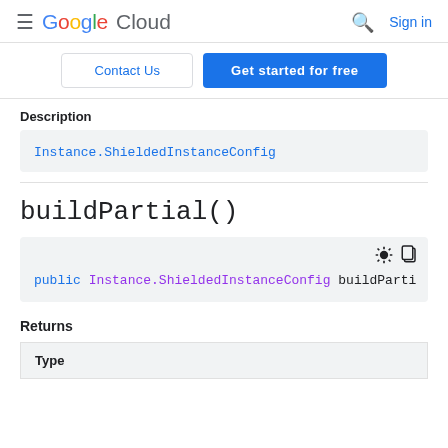Google Cloud — Sign in
Contact Us | Get started for free
Description
Instance.ShieldedInstanceConfig
buildPartial()
public Instance.ShieldedInstanceConfig buildParti
Returns
| Type |
| --- |